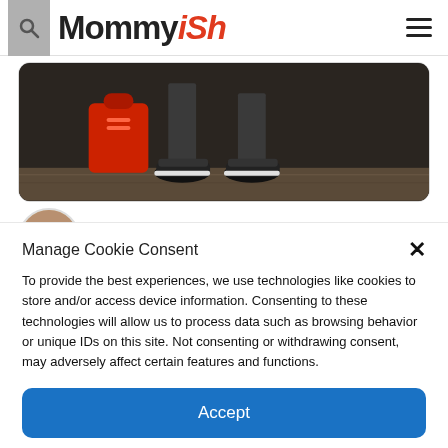Mommyish
[Figure (screenshot): Partial tweet card showing legs/feet of a person wearing sneakers standing on a wooden floor, with a red bag visible]
GiGi @gatorgirl277 · Follow
Manage Cookie Consent
To provide the best experiences, we use technologies like cookies to store and/or access device information. Consenting to these technologies will allow us to process data such as browsing behavior or unique IDs on this site. Not consenting or withdrawing consent, may adversely affect certain features and functions.
Accept
Privacy